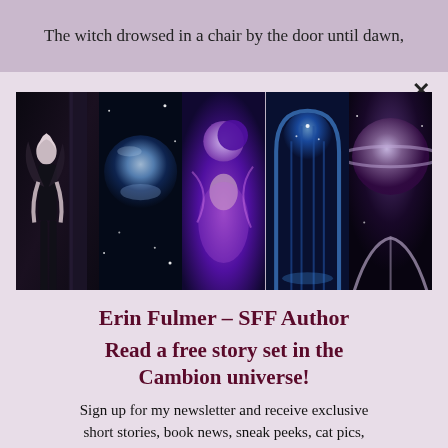The witch drowsed in a chair by the door until dawn,
[Figure (photo): A collage of five fantasy/sci-fi themed book cover images side by side: a dark angel girl by a pillar, a galaxy/space nebula, a purple mystical feminine figure with a crescent moon, a blue gothic archway with light, and a planet with a bridge/arch structure.]
Erin Fulmer – SFF Author
Read a free story set in the Cambion universe!
Sign up for my newsletter and receive exclusive short stories, book news, sneak peeks, cat pics, and other extras!